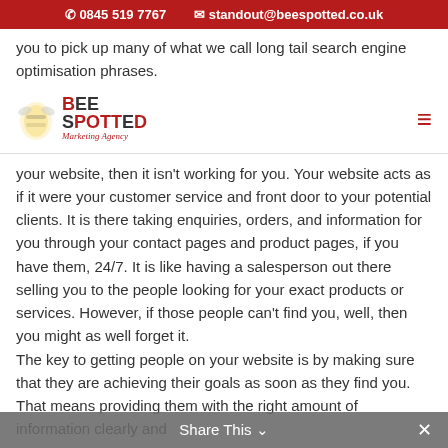0845 519 7767  standout@beespotted.co.uk
you to pick up many of what we call long tail search engine optimisation phrases.
[Figure (logo): Bee Spotted Marketing Agency logo with stylized bee and text]
your website, then it isn't working for you. Your website acts as if it were your customer service and front door to your potential clients. It is there taking enquiries, orders, and information for you through your contact pages and product pages, if you have them, 24/7. It is like having a salesperson out there selling you to the people looking for your exact products or services. However, if those people can't find you, well, then you might as well forget it. The key to getting people on your website is by making sure that they are achieving their goals as soon as they find you. That means providing them with the right amount of information clearly and
Share This ∨  ✕